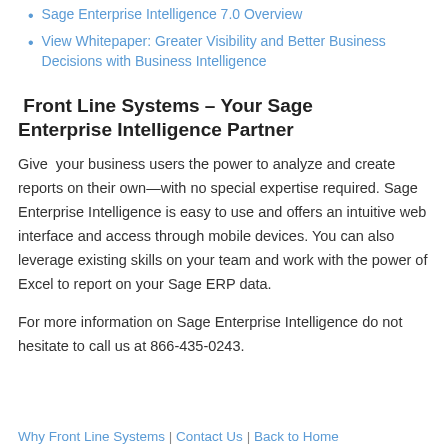Sage Enterprise Intelligence 7.0 Overview
View Whitepaper: Greater Visibility and Better Business Decisions with Business Intelligence
Front Line Systems – Your Sage Enterprise Intelligence Partner
Give your business users the power to analyze and create reports on their own—with no special expertise required. Sage Enterprise Intelligence is easy to use and offers an intuitive web interface and access through mobile devices. You can also leverage existing skills on your team and work with the power of Excel to report on your Sage ERP data.
For more information on Sage Enterprise Intelligence do not hesitate to call us at 866-435-0243.
Why Front Line Systems | Contact Us | Back to Home